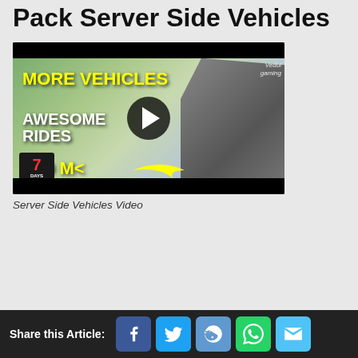1. Snaiken's Community Pack Server Side Vehicles
[Figure (screenshot): YouTube video thumbnail for a 7 Days to Die mod video titled 'More Vehicles Awesome Rides A19 Mod' with a play button overlay. Shows text 'MORE VEHICLES', 'AWESOME RIDES', 'A19 Mo' in yellow and white on a post-apocalyptic background with a metallic truck on the right side and the 7 Days to Die logo on the bottom left. 'Vedui gaming' watermark in top right.]
Server Side Vehicles Video
Share this Article: